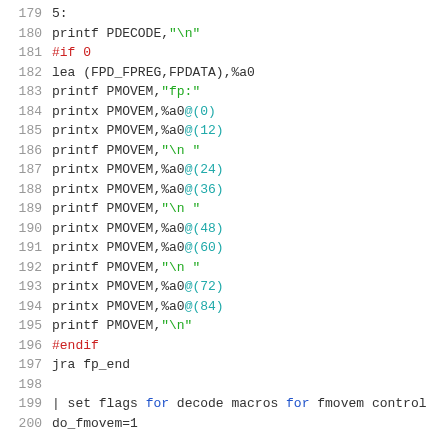Source code listing lines 179-200, assembly/macro code
179   5:
180           printf   PDECODE,"\n"
181   #if 0
182           lea      (FPD_FPREG,FPDATA),%a0
183           printf   PMOVEM,"fp:"
184           printx   PMOVEM,%a0@(0)
185           printx   PMOVEM,%a0@(12)
186           printf   PMOVEM,"\n      "
187           printx   PMOVEM,%a0@(24)
188           printx   PMOVEM,%a0@(36)
189           printf   PMOVEM,"\n      "
190           printx   PMOVEM,%a0@(48)
191           printx   PMOVEM,%a0@(60)
192           printf   PMOVEM,"\n      "
193           printx   PMOVEM,%a0@(72)
194           printx   PMOVEM,%a0@(84)
195           printf   PMOVEM,"\n"
196   #endif
197           jra      fp_end
198
199   | set flags for decode macros for fmovem control
200   do_fmovem=1